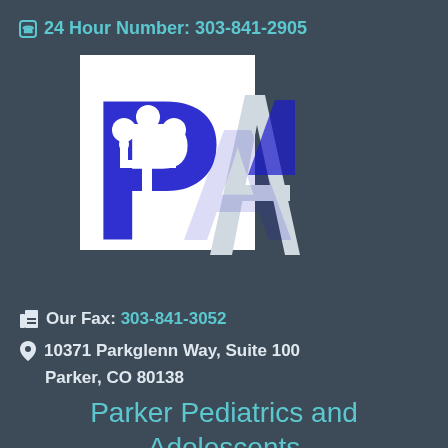24 Hour Number: 303-841-2905
[Figure (logo): Parker Pediatrics and Adolescents logo showing blue 'PA' letters with a stylized tree/people figure on a white square background]
Our Fax: 303-841-3052
10371 Parkglenn Way, Suite 100
Parker, CO 80138
Parker Pediatrics and Adolescents